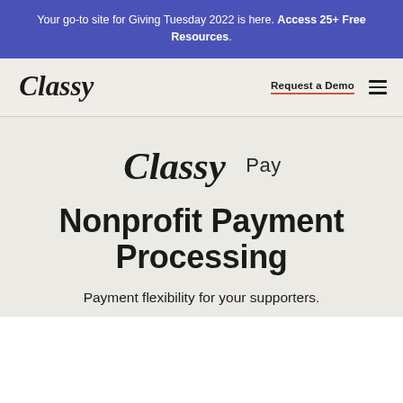Your go-to site for Giving Tuesday 2022 is here. Access 25+ Free Resources.
[Figure (logo): Classy logo in cursive/script font in navigation bar]
Request a Demo
[Figure (logo): Classy Pay logo — Classy in large script font followed by Pay in sans-serif]
Nonprofit Payment Processing
Payment flexibility for your supporters.